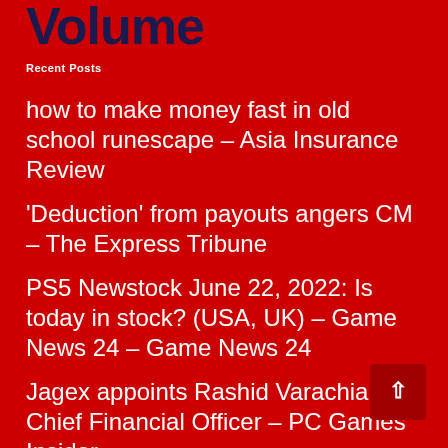Volume
Recent Posts
how to make money fast in old school runescape – Asia Insurance Review
'Deduction' from payouts angers CM – The Express Tribune
PS5 Newstock June 22, 2022: Is today in stock? (USA, UK) – Game News 24 – Game News 24
Jagex appoints Rashid Varachia as Chief Financial Officer – PC Games Insider
how to make fast money in runescape f2p –